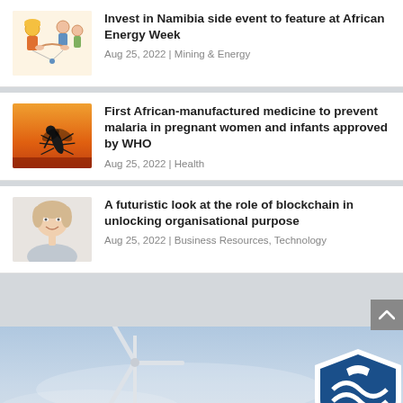[Figure (screenshot): News feed screenshot showing three article cards and a banner advertisement at the bottom]
Invest in Namibia side event to feature at African Energy Week
Aug 25, 2022 | Mining & Energy
First African-manufactured medicine to prevent malaria in pregnant women and infants approved by WHO
Aug 25, 2022 | Health
A futuristic look at the role of blockchain in unlocking organisational purpose
Aug 25, 2022 | Business Resources, Technology